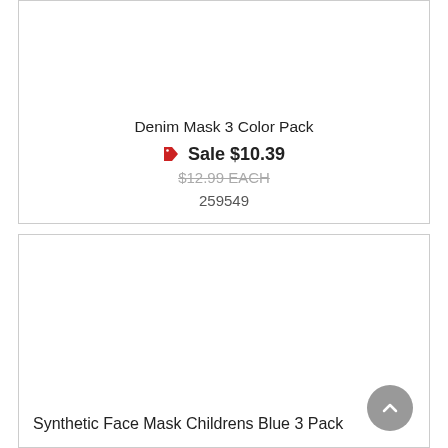Denim Mask 3 Color Pack
Sale $10.39
$12.99 EACH
259549
Synthetic Face Mask Childrens Blue 3 Pack